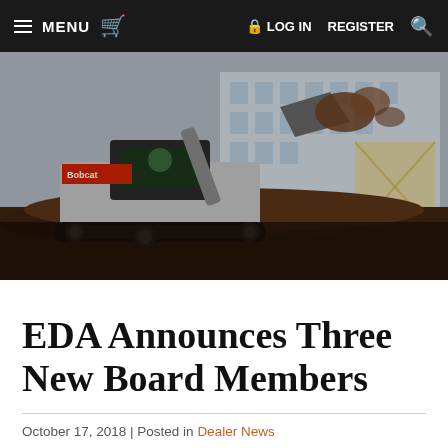≡ MENU  🛒  🔒 LOG IN  REGISTER  🔍
[Figure (photo): A Bobcat compact track loader moving dirt at a construction site with a building in the background. The machine is tilted forward, dumping a large load of soil from its bucket.]
EDA Announces Three New Board Members
October 17, 2018 | Posted in Dealer News